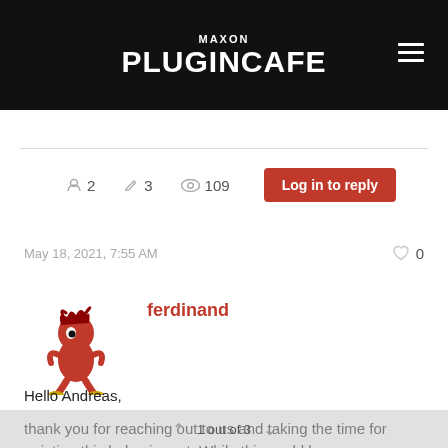MAXON PLUGINCAFE
2 participants · 3 posts · 109 views · Log in to reply
May 18, 2021, 7:55 AM
[Figure (illustration): Maxon PluginCafe mascot: a red devil/imp character running]
ferdinand
Hello Andreas,

thank you for reaching out to us and taking the time for pointing this behavior out. While this could be seen as a bug, we currently do consider this an acceptable limitation due to our current workload. We might fix this at some